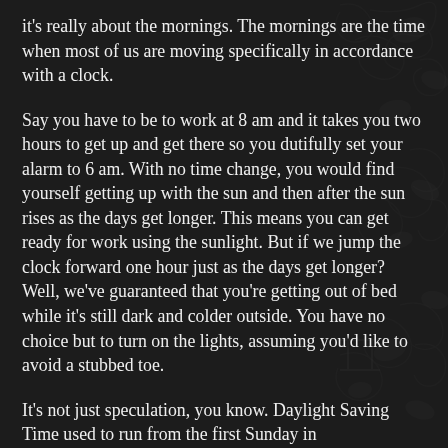it's really about the mornings.  The mornings are the time when most of us are moving specifically in accordance with a clock.
Say you have to be to work at 8 am and it takes you two hours to get up and get there so you dutifully set your alarm to 6 am.  With no time change, you would find yourself getting up with the sun and then after the sun rises as the days get longer.  This means you can get ready for work using the sunlight.  But if we jump the clock forward one hour just as the days get longer?  Well, we've guaranteed that you're getting out of bed while it's still dark and colder outside.  You have no choice but to turn on the lights, assuming you'd like to avoid a stubbed toe.
It's not just speculation, you know.  Daylight Saving Time used to run from the first Sunday in